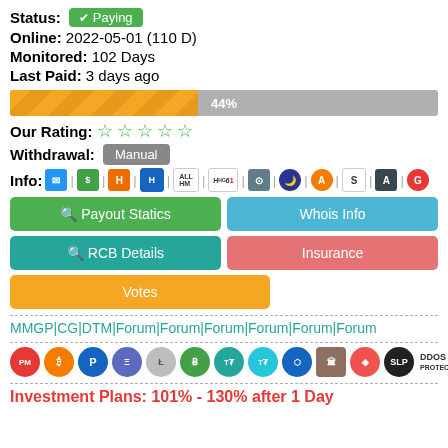Status: ✔ Paying
Online: 2022-05-01 (110 D)
Monitored: 102 Days
Last Paid: 3 days ago
[Figure (other): Progress bar at 44%]
Our Rating: ☆☆☆☆☆
Withdrawal: Manual
Info: [icons row]
Payout Statics | Whois Info | RCB Details | Insurance | Votes
MMGP|CG|DTM|Forum|Forum|Forum|Forum|Forum|Forum
[Figure (other): Payment method icons: PM, BTC, P, ETH, LTC, BCH, USDT-T, USDT-T2, crypto, bank, TRX, SLP, DDOS Protect, SSL Secure]
Investment Plans: 101% - 130% after 1 Day